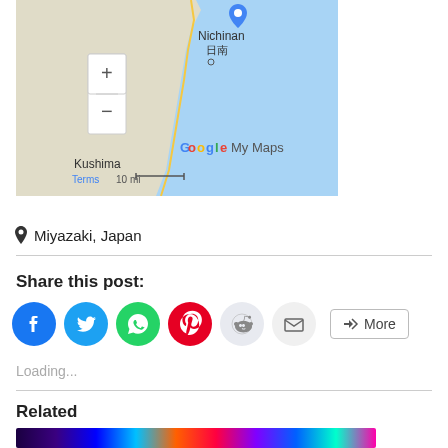[Figure (map): Google My Maps screenshot showing Miyazaki region of Japan including Nichinan (日南) and Kushima, with a blue location pin, zoom controls (+/-), and scale of 10 mi.]
📍 Miyazaki, Japan
Share this post:
[Figure (infographic): Social share buttons: Facebook (blue), Twitter (blue), WhatsApp (green), Pinterest (red), Reddit (light grey), Email (grey), and a More button with share icon.]
Loading...
Related